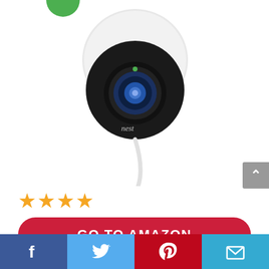[Figure (photo): Two Nest security cameras side by side — left is Nest Cam Indoor (round black face with white housing and power cable), right is Nest Cam Outdoor (cylindrical white body with black lens and power cable). Green dot indicator visible on each. Green partial circle visible at top left corner.]
[Figure (other): 4-star rating displayed as four filled orange stars]
GO TO AMAZON
[Figure (other): Social share bar with Facebook, Twitter, Pinterest, and Email buttons]